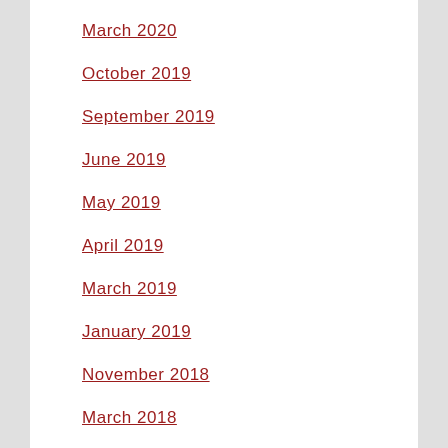March 2020
October 2019
September 2019
June 2019
May 2019
April 2019
March 2019
January 2019
November 2018
March 2018